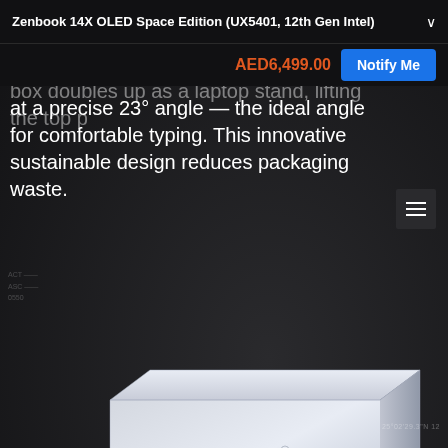Zenbook 14X OLED Space Edition (UX5401, 12th Gen Intel)
AED6,499.00
Notify Me
box doubles up as a laptop stand, lifting the top panel at a precise 23° angle — the ideal angle for comfortable typing. This innovative sustainable design reduces packaging waste.
[Figure (photo): 3D render of the Zenbook 14X OLED Space Edition rectangular box packaging in white/silver with 'SPACE EDITION' text engraved, shown at an angle on a dark background. Large semi-transparent 'SPACE EDITION' text appears in the background.]